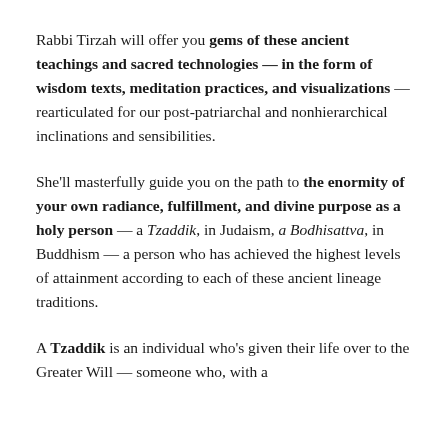Rabbi Tirzah will offer you gems of these ancient teachings and sacred technologies — in the form of wisdom texts, meditation practices, and visualizations — rearticulated for our post-patriarchal and nonhierarchical inclinations and sensibilities.
She'll masterfully guide you on the path to the enormity of your own radiance, fulfillment, and divine purpose as a holy person — a Tzaddik, in Judaism, a Bodhisattva, in Buddhism — a person who has achieved the highest levels of attainment according to each of these ancient lineage traditions.
A Tzaddik is an individual who's given their life over to the Greater Will — someone who, with a